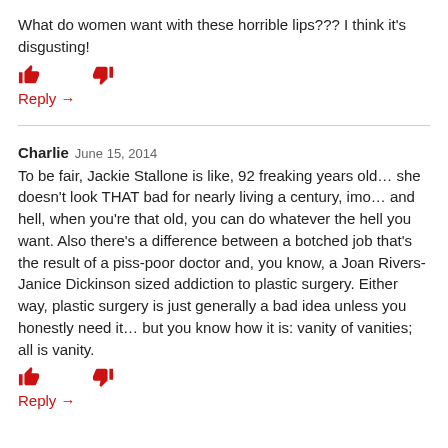What do women want with these horrible lips??? I think it's disgusting!
👍  👎
Reply →
Charlie  June 15, 2014
To be fair, Jackie Stallone is like, 92 freaking years old… she doesn't look THAT bad for nearly living a century, imo… and hell, when you're that old, you can do whatever the hell you want. Also there's a difference between a botched job that's the result of a piss-poor doctor and, you know, a Joan Rivers-Janice Dickinson sized addiction to plastic surgery. Either way, plastic surgery is just generally a bad idea unless you honestly need it… but you know how it is: vanity of vanities; all is vanity.
👍  👎
Reply →